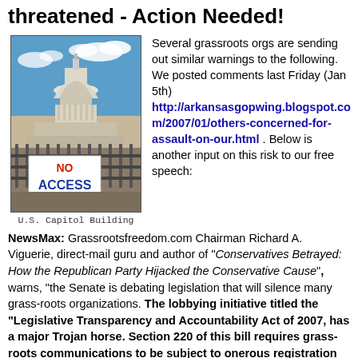threatened - Action Needed!
[Figure (photo): Photo of the U.S. Capitol Building with a metal fence barrier and a 'NO ACCESS' sign in red and blue letters. Blue sky with clouds visible behind the dome.]
U.S. Capitol Building
Several grassroots orgs are sending out similar warnings to the following. We posted comments last Friday (Jan 5th) http://arkansasgopwing.blogspot.com/2007/01/others-concerned-for-assault-on-our.html . Below is another input on this risk to our free speech:
NewsMax: Grassrootsfreedom.com Chairman Richard A. Viguerie, direct-mail guru and author of "Conservatives Betrayed: How the Republican Party Hijacked the Conservative Cause", warns, "the Senate is debating legislation that will silence many grass-roots organizations. The lobbying initiative titled the "Legislative Transparency and Accountability Act of 2007, has a major Trojan horse. Section 220 of this bill requires grass-roots communications to be subject to onerous registration and reporting requirements that actually exceed what is required of the big Washington, D.C., lobbyists." ... [Click for more]